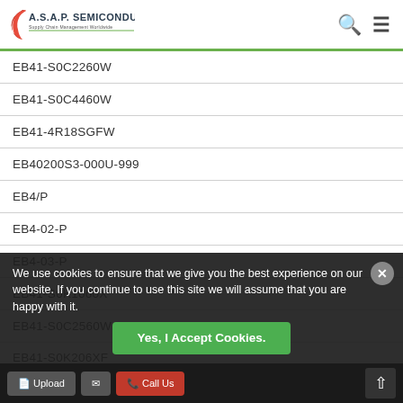A.S.A.P. Semiconductor — Supply Chain Management Worldwide
EB41-S0C2260W
EB41-S0C4460W
EB41-4R18SGFW
EB40200S3-000U-999
EB4/P
EB4-02-P
EB4-03-P
EB41-S0K1060X
EB41-S0C2560W
EB41-S0K206XF
EB41-S0C2560W (partially visible)
EB40201SA-0000-999
EB41-S0C224XF
We use cookies to ensure that we give you the best experience on our website. If you continue to use this site we will assume that you are happy with it.
Yes, I Accept Cookies.